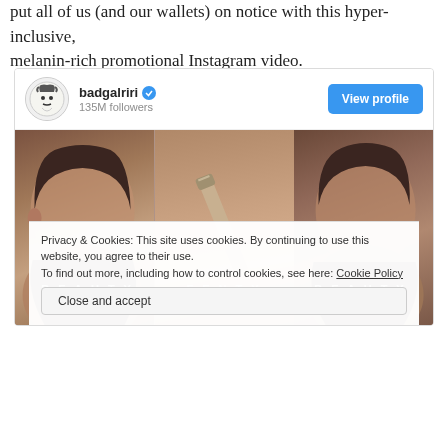put all of us (and our wallets) on notice with this hyper-inclusive, melanin-rich promotional Instagram video.
[Figure (screenshot): Instagram embed showing badgalriri account with 135M followers, View profile button, and Fenty Beauty promotional image showing Rihanna in multiple panels with BEAUTY FENTY BEAUTY text overlay]
Privacy & Cookies: This site uses cookies. By continuing to use this website, you agree to their use. To find out more, including how to control cookies, see here: Cookie Policy
Close and accept